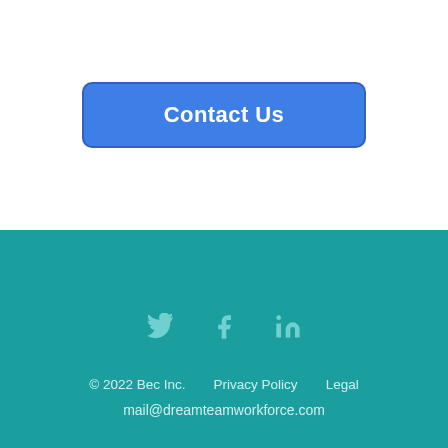[Figure (other): Blue rounded rectangle button labeled 'Contact Us']
© 2022 Bec Inc.    Privacy Policy    Legal
mail@dreamteamworkforce.com